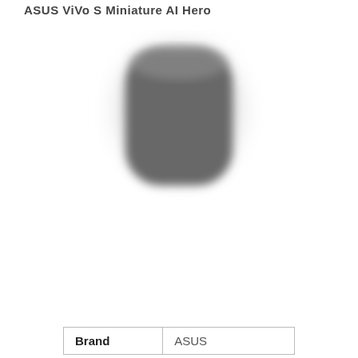ASUS ViVo S Miniature AI Hero
[Figure (photo): A blurred/obscured photo of a dark rounded square-shaped device, likely a router or smart home device, shown against a white background.]
| Brand | ASUS |